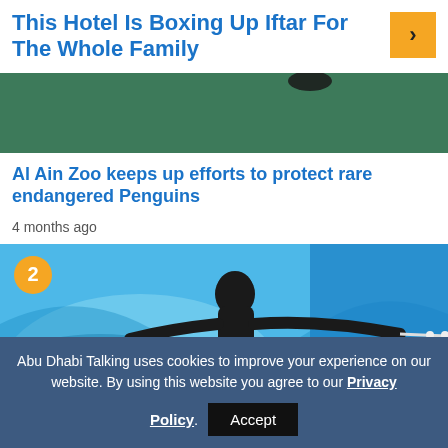This Hotel Is Boxing Up Iftar For The Whole Family
[Figure (photo): Green background image, partial view of a scene, dark object visible at top]
Al Ain Zoo keeps up efforts to protect rare endangered Penguins
4 months ago
[Figure (photo): A person in a black wetsuit surfing on a wave, number badge '2' in top-left corner, blue water background]
Abu Dhabi Talking uses cookies to improve your experience on our website. By using this website you agree to our Privacy Policy. Accept